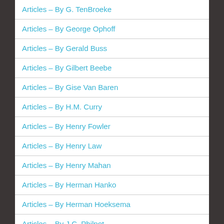Articles – By G. TenBroeke
Articles – By George Ophoff
Articles – By Gerald Buss
Articles – By Gilbert Beebe
Articles – By Gise Van Baren
Articles – By H.M. Curry
Articles – By Henry Fowler
Articles – By Henry Law
Articles – By Henry Mahan
Articles – By Herman Hanko
Articles – By Herman Hoeksema
Articles – By J.C. Philpot